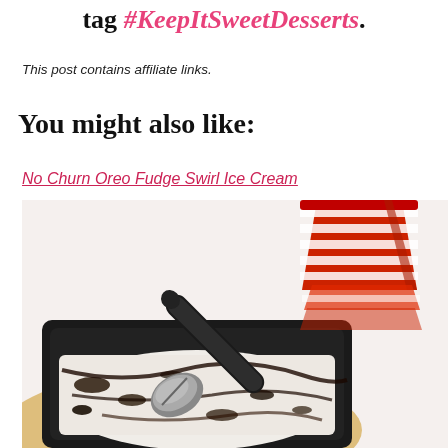tag #KeepItSweetDesserts.
This post contains affiliate links.
You might also like:
No Churn Oreo Fudge Swirl Ice Cream
[Figure (photo): A black rectangular pan of no-churn Oreo fudge swirl ice cream with a black ice cream scoop resting in it, beside a red and white striped ice cream cup on a woven yellow placemat, all on a light background.]